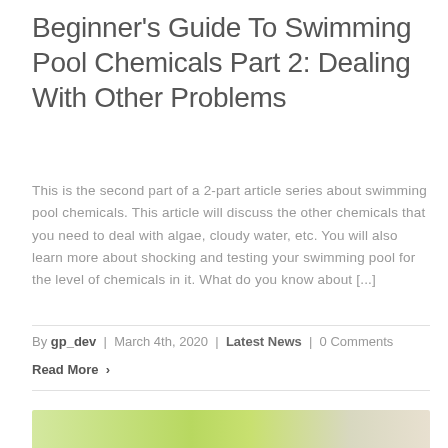Beginner's Guide To Swimming Pool Chemicals Part 2: Dealing With Other Problems
This is the second part of a 2-part article series about swimming pool chemicals. This article will discuss the other chemicals that you need to deal with algae, cloudy water, etc. You will also learn more about shocking and testing your swimming pool for the level of chemicals in it. What do you know about [...]
By gp_dev | March 4th, 2020 | Latest News | 0 Comments
Read More >
[Figure (photo): Partial image visible at bottom of page, appears to show a drink or food with citrus and green elements]